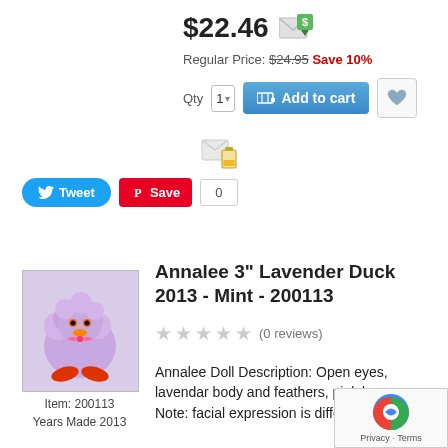$22.46
Regular Price: $24.95 Save 10%
[Figure (screenshot): Qty selector, Add to cart button, wishlist heart button]
[Figure (screenshot): Tweet and Pinterest Save social sharing buttons with count 0]
[Figure (photo): Annalee 3 inch Lavender Duck plush toy with pink bow and red feet]
Item: 200113
Years Made 2013
Annalee 3" Lavender Duck 2013 - Mint - 200113
(0 reviews)
Annalee Doll Description: Open eyes, lavendar body and feathers, pink bow Note: facial expression is differ photo.